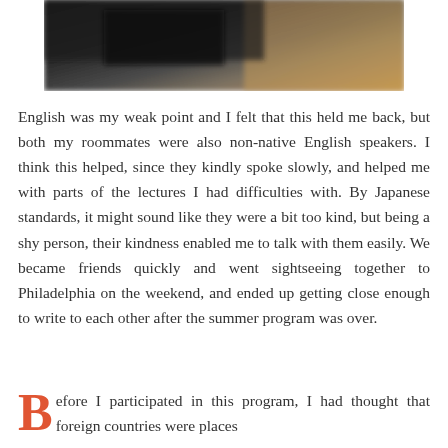[Figure (photo): A blurred photo showing a dark background on the left and warm brown/tan tones on the right, partial view of what appears to be furniture or equipment]
English was my weak point and I felt that this held me back, but both my roommates were also non-native English speakers. I think this helped, since they kindly spoke slowly, and helped me with parts of the lectures I had difficulties with. By Japanese standards, it might sound like they were a bit too kind, but being a shy person, their kindness enabled me to talk with them easily. We became friends quickly and went sightseeing together to Philadelphia on the weekend, and ended up getting close enough to write to each other after the summer program was over.
Before I participated in this program, I had thought that foreign countries were places